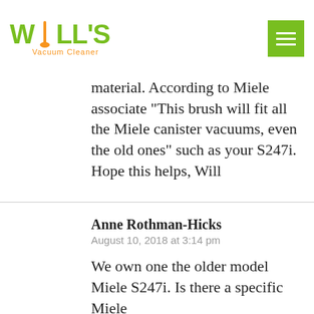Will's Vacuum Cleaner
material. According to Miele associate “This brush will fit all the Miele canister vacuums, even the old ones” such as your S247i. Hope this helps, Will
Anne Rothman-Hicks
August 10, 2018 at 3:14 pm

We own one the older model Miele S247i. Is there a specific Miele